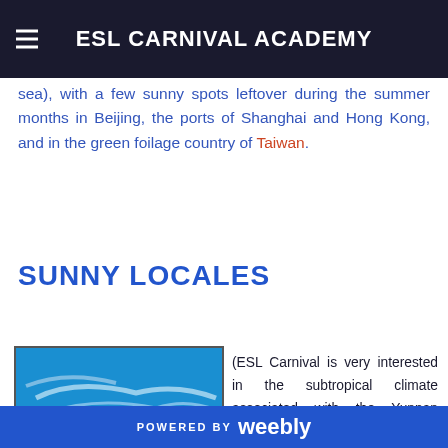ESL CARNIVAL ACADEMY
sea), with a few sunny spots leftover during the summer months in Beijing, the ports of Shanghai and Hong Kong, and in the green foilage country of Taiwan.
SUNNY LOCALES
[Figure (photo): Tropical overwater bungalow resort with turquoise water and blue sky with wispy clouds]
(ESL Carnival is very interested in the subtropical climate associated with the Yunnan Province). Now...
POWERED BY weebly